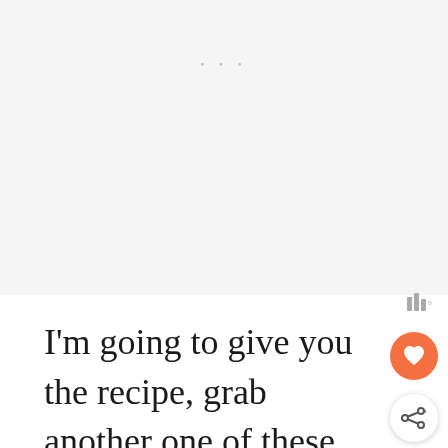[Figure (screenshot): Light gray placeholder/loading area at top of page with three small dots]
[Figure (logo): Wattpad logo: three vertical bars with a degree symbol, in gray]
I'm going to give you the recipe, grab another one of these chocolate cookies, and head back outside and enjoy summe... hope you are doing the same!
[Figure (other): Orange circular heart/favorite button on right side]
[Figure (other): White circular share button on right side]
[Figure (other): What's Next panel: thumbnail of chocolate almond pic, label WHAT'S NEXT ->, title Chocolate Almond Pic...]
[Figure (screenshot): Gray bar at bottom of content area]
[Figure (other): Advertisement banner at bottom: cream background with SPREAD KINDNESS NOT VIRUS text in colorful letters, X close button, and dark right panel with Wattpad bars icon]